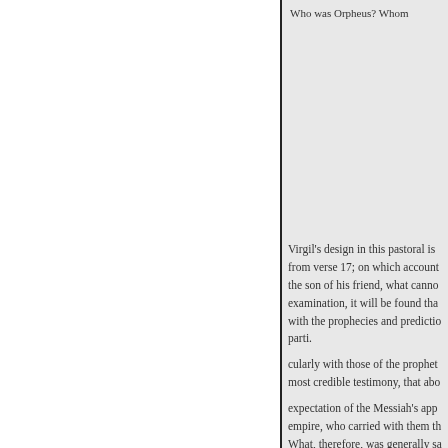Who was Orpheus? Whom
Virgil's design in this pastoral is from verse 17; on which account the son of his friend, what cannot examination, it will be found that with the prophecies and predictions parti.
cularly with those of the prophets most credible testimony, that about
expectation of the Messiah's appearance empire, who carried with them the What, therefore, was generally said to the son of Pollio. It was not fully
ever, actually fulfilled in about fe poet hath in view Marcellus, the